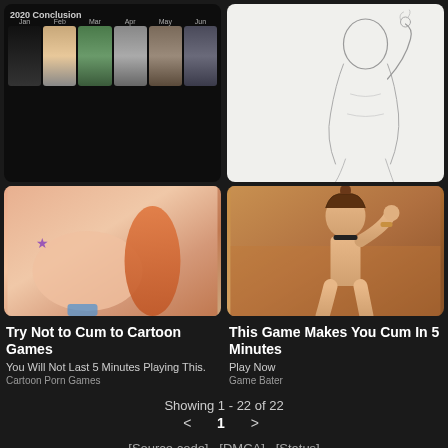[Figure (illustration): Grid of anime character thumbnails labeled 2020 Conclusion with month labels Jan Feb Mar Apr May Jun]
[Figure (illustration): Pencil sketch line art of an anime character]
[Figure (illustration): Anime adult cartoon game advertisement image]
[Figure (illustration): 3D rendered game character advertisement image]
Try Not to Cum to Cartoon Games
You Will Not Last 5 Minutes Playing This.
Cartoon Porn Games
This Game Makes You Cum In 5 Minutes
Play Now
Game Bater
Showing 1 - 22 of 22
< 1 >
[Source code]  [DMCA]  [Status]